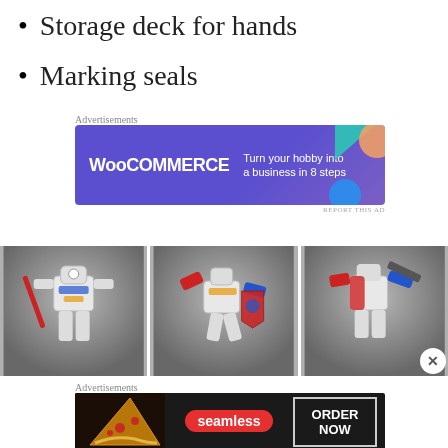Storage deck for hands
Marking seals
[Figure (illustration): WooCommerce advertisement banner: purple/violet background with geometric shapes (teal triangle, orange circle, blue circle), WooCommerce logo on left, text 'Turn your hobby into a business in 8 steps' on right]
[Figure (photo): Three action figure / mecha robot figures (Gundam style) arranged in a row. Left: white robot with red lightsaber-like sword. Middle: colorful mecha in dynamic pose. Right: red and white mecha holding weapon.]
[Figure (illustration): Seamless food delivery advertisement banner: dark background, pizza image on left, Seamless red logo in center, 'ORDER NOW' button on right]